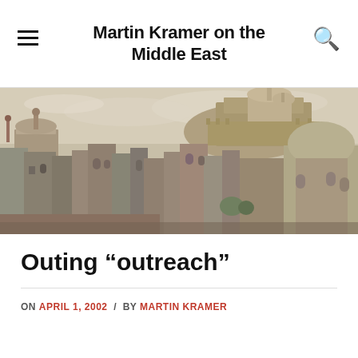Martin Kramer on the Middle East
[Figure (photo): Black and white panoramic photograph of a Middle Eastern city (Cairo) with mosques, minarets, domed buildings, and densely packed urban architecture, with a citadel visible on a hill in the background.]
Outing “outreach”
ON APRIL 1, 2002 / BY MARTIN KRAMER